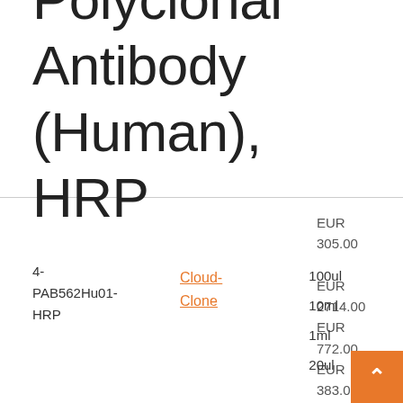Polyclonal Antibody (Human), HRP
4-PAB562Hu01-HRP
Cloud-Clone
EUR 305.00
EUR 2714.00
EUR 772.00
EUR 383.00
100ul
10ml
1ml
20ul